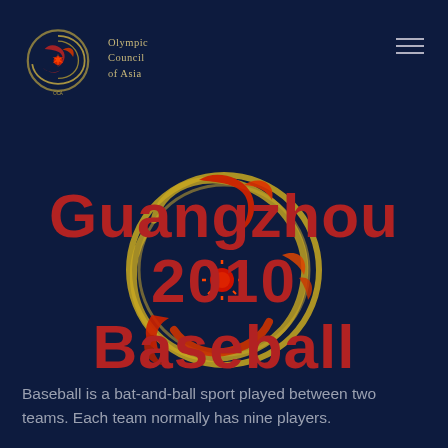[Figure (logo): Olympic Council of Asia logo with golden swirl and red bird emblem, with text 'Olympic Council of Asia' in golden serif font]
Guangzhou 2010 Baseball
[Figure (illustration): Guangzhou 2010 Asian Games emblem - red and golden swirl/bird motif on dark navy background, partially overlaid by the title text]
Baseball is a bat-and-ball sport played between two teams. Each team normally has nine players.